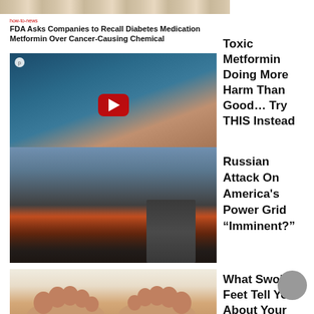[Figure (photo): Top strip cropped image showing textured/food-like items]
how-to-news
FDA Asks Companies to Recall Diabetes Medication Metformin Over Cancer-Causing Chemical
[Figure (photo): YouTube video thumbnail showing a doctor and patient with a YouTube play button overlay]
Find the rest of the news for you with some recommendation system like the ones done by Getty Images
Toxic Metformin Doing More Harm Than Good… Try THIS Instead
[Figure (photo): Photo of conflict scene with fire, smoke, buildings in background and a masked soldier figure in foreground]
Russian Attack On America's Power Grid “Imminent?”
[Figure (photo): Close-up photo of swollen bare feet on a light surface]
What Swollen Feet Tell You About Your Blood Pressure